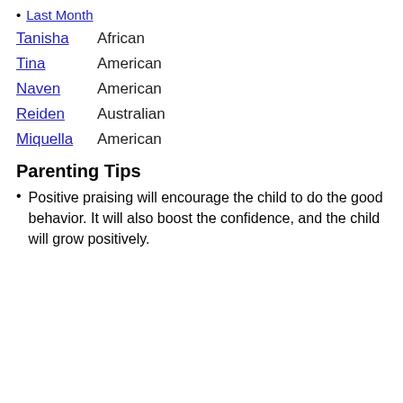Last Month
Tanisha   African
Tina   American
Naven   American
Reiden   Australian
Miquella   American
Parenting Tips
Positive praising will encourage the child to do the good behavior. It will also boost the confidence, and the child will grow positively.